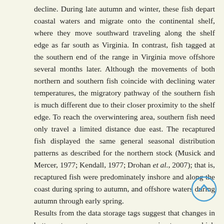decline. During late autumn and winter, these fish depart coastal waters and migrate onto the continental shelf, where they move southward traveling along the shelf edge as far south as Virginia. In contrast, fish tagged at the southern end of the range in Virginia move offshore several months later. Although the movements of both northern and southern fish coincide with declining water temperatures, the migratory pathway of the southern fish is much different due to their closer proximity to the shelf edge. To reach the overwintering area, southern fish need only travel a limited distance due east. The recaptured fish displayed the same general seasonal distribution patterns as described for the northern stock (Musick and Mercer, 1977; Kendall, 1977; Drohan et al., 2007); that is, recaptured fish were predominately inshore and along the coast during spring to autumn, and offshore waters during autumn through early spring.
Results from the data storage tags suggest that changes in bottom temperature serve as a proximate cue which initiates the autumn offshore migration. Initiation of movement